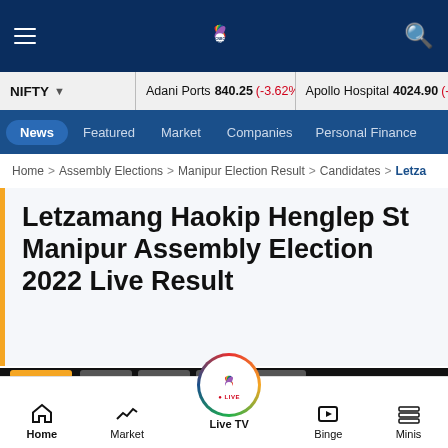CNBC TV18 navigation header with hamburger menu, logo, and search icon
NIFTY | Adani Ports 840.25 (-3.62%) | Apollo Hospital 4024.90 (-2
News | Featured | Market | Companies | Personal Finance
Home > Assembly Elections > Manipur Election Result > Candidates > Letza
Letzamang Haokip Henglep St Manipur Assembly Election 2022 Live Result
[Figure (screenshot): Dark video/tab area with orange and gray pill tabs]
Home | Market | Live TV | Binge | Minis